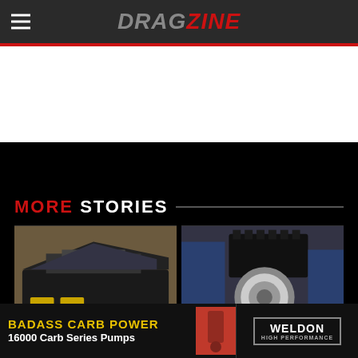DRAGZINE
MORE STORIES
[Figure (photo): Front view of a matte black muscle car (appears to be a Dodge Charger) on a drag strip with hood open showing engine]
[Figure (photo): Close-up of a supercharger or blower engine component at what appears to be a car show or trade show]
[Figure (photo): Advertisement banner: BADASS CARB POWER - 16000 Carb Series Pumps with Weldon High Performance logo]